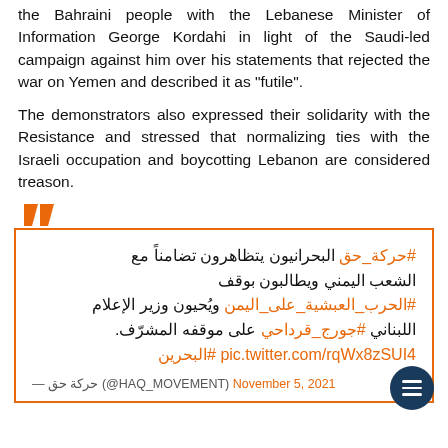the Bahraini people with the Lebanese Minister of Information George Kordahi in light of the Saudi-led campaign against him over his statements that rejected the war on Yemen and described it as "futile".
The demonstrators also expressed their solidarity with the Resistance and stressed that normalizing ties with the Israeli occupation and boycotting Lebanon are considered treason.
#حركة_حق البحرانيون يتظاهرون تضامناً مع الشعب اليمني ويطالبون بوقف #الحرب_العبشية_على_اليمن ويُحيون وزير الإعلام اللبناني #جورج_قرداحي على موقفه المشرف. pic.twitter.com/rqWx8zSUI4 #البحرين
— حركة حق (@HAQ_MOVEMENT) November 5, 2021